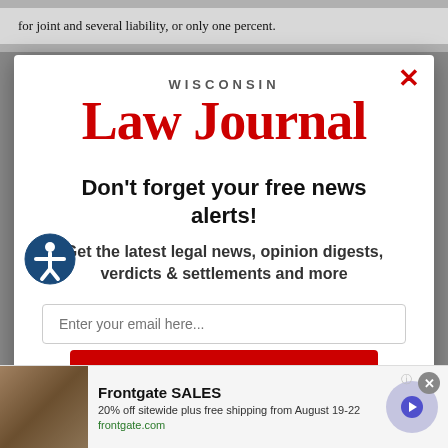for joint and several liability, or only one percent.
[Figure (logo): Wisconsin Law Journal logo with red serif text]
Don't forget your free news alerts!
Get the latest legal news, opinion digests, verdicts & settlements and more
Enter your email here...
SIGN UP FOR FREE
[Figure (infographic): Frontgate SALES advertisement banner: 20% off sitewide plus free shipping from August 19-22, frontgate.com]